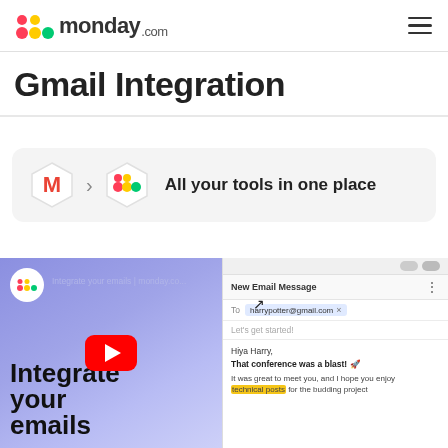monday.com
Gmail Integration
[Figure (infographic): Integration banner showing Gmail M icon and monday.com icon with arrow between them and text 'All your tools in one place']
[Figure (screenshot): YouTube video thumbnail for 'Integrate your emails | monday.co...' showing the monday.com logo, large text 'Integrate your emails', a red YouTube play button, and a Gmail compose window with To: harrypotter@gmail.com, Let's get started!, Hiya Harry, That conference was a blast! rocket emoji, and partially visible body text with yellow highlight]